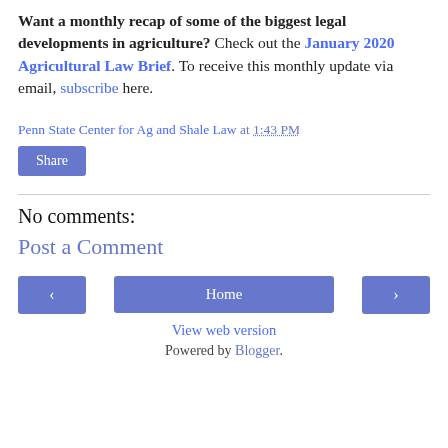Want a monthly recap of some of the biggest legal developments in agriculture? Check out the January 2020 Agricultural Law Brief. To receive this monthly update via email, subscribe here.
Penn State Center for Ag and Shale Law at 1:43 PM
Share
No comments:
Post a Comment
‹ Home ›
View web version
Powered by Blogger.